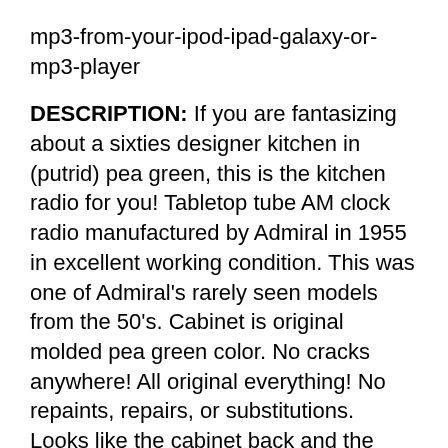mp3-from-your-ipod-ipad-galaxy-or-mp3-player
DESCRIPTION: If you are fantasizing about a sixties designer kitchen in (putrid) pea green, this is the kitchen radio for you! Tabletop tube AM clock radio manufactured by Admiral in 1955 in excellent working condition. This was one of Admiral's rarely seen models from the 50's. Cabinet is original molded pea green color. No cracks anywhere! All original everything! No repaints, repairs, or substitutions. Looks like the cabinet back and the front grill are different shades of plastic but actually look more similar in real person. The photo lighting makes the cabinet back look more like a Gumby green, but it is actually a pea green in reality. Knobs are original and